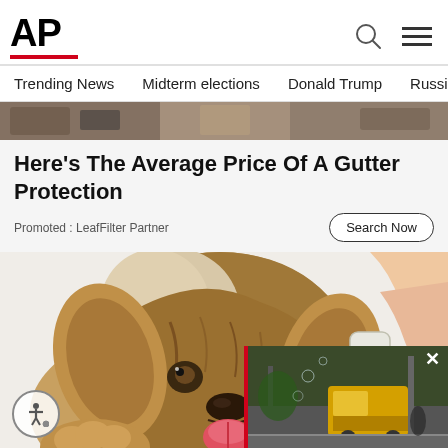AP
Trending News   Midterm elections   Donald Trump   Russia-Ukr
[Figure (photo): Top strip image showing partial view of objects on a surface]
Here's The Average Price Of A Gutter Protection
Promoted : LeafFilter Partner
[Figure (illustration): Illustrated image of a fluffy brown dog with tongue out, with a hand pouring liquid into a bowl, and a photo overlay of a street scene with a yellow vehicle]
Search Now